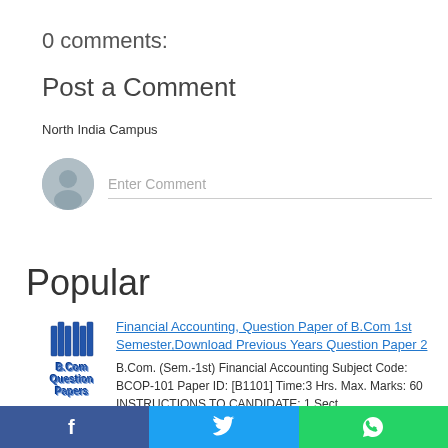0 comments:
Post a Comment
North India Campus
Enter Comment
Popular
[Figure (logo): B.Com Question Papers logo with book icon]
Financial Accounting, Question Paper of B.Com 1st Semester,Download Previous Years Question Paper 2
B.Com. (Sem.-1st) Financial Accounting Subject Code: BCOP-101 Paper ID: [B1101] Time:3 Hrs. Max. Marks: 60 INSTRUCTIONS TO CANDIDATE: 1.Sect...
[Figure (infographic): Social share bar with Facebook, Twitter, and WhatsApp icons]